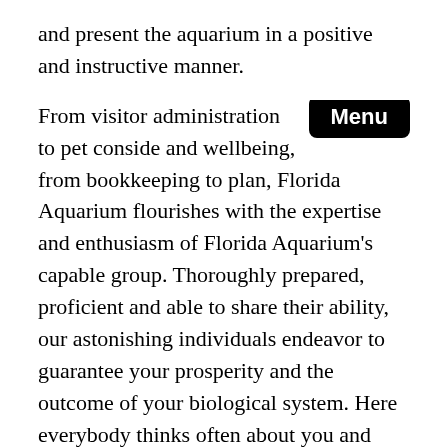and present the aquarium in a positive and instructive manner.
From visitor administration to pet conside and wellbeing, from bookkeeping to plan, Florida Aquarium flourishes with the expertise and enthusiasm of Florida Aquarium's capable group. Thoroughly prepared, proficient and able to share their ability, our astonishing individuals endeavor to guarantee your prosperity and the outcome of your biological system. Here everybody thinks often about you and your aquarium and invests wholeheartedly in what they do.
Training Our teachers communicate with Aquarium guests by sharing their insight and abilities in sea life science. Temporary positions at